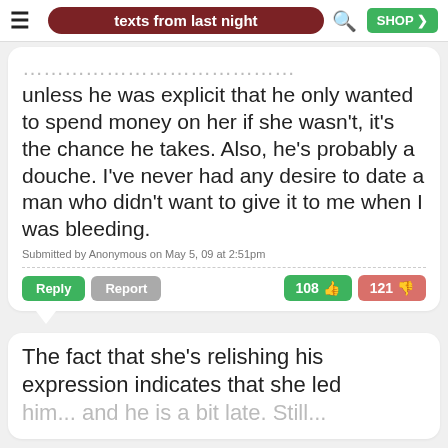texts from last night
...chance a girl on her period, so unless he was explicit that he only wanted to spend money on her if she wasn't, it's the chance he takes. Also, he's probably a douche. I've never had any desire to date a man who didn't want to give it to me when I was bleeding.
Submitted by Anonymous on May 5, 09 at 2:51pm
Reply  Report   108 👍  121 👎
The fact that she's relishing his expression indicates that she led him... and he is a bit late. Still...